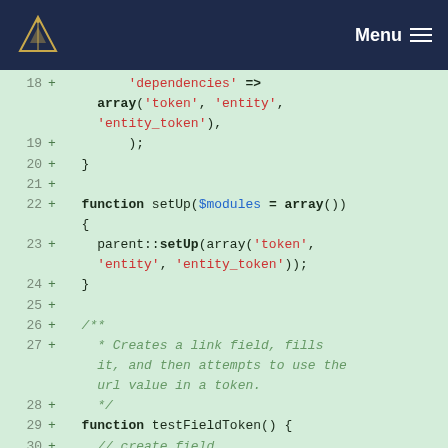Menu
[Figure (screenshot): Code diff viewer showing PHP code lines 18-31 with line numbers, plus signs indicating additions, keywords in bold, strings in red, variables in blue, and comments in green italic, on a light green background.]